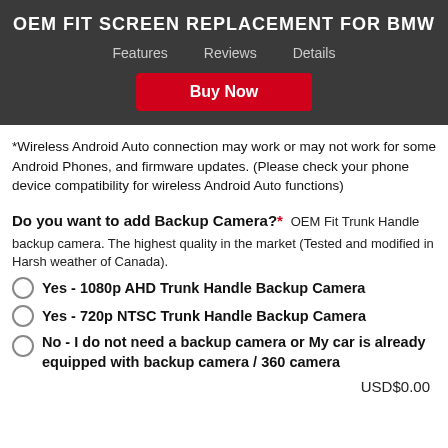OEM FIT SCREEN REPLACEMENT FOR BMW
Features   Reviews   Details
Buy Now
*Wireless Android Auto connection may work or may not work for some Android Phones, and firmware updates. (Please check your phone device compatibility for wireless Android Auto functions)
Do you want to add Backup Camera?* OEM Fit Trunk Handle backup camera. The highest quality in the market (Tested and modified in Harsh weather of Canada).
Yes - 1080p AHD Trunk Handle Backup Camera
Yes - 720p NTSC Trunk Handle Backup Camera
No - I do not need a backup camera or My car is already equipped with backup camera / 360 camera
USD$0.00